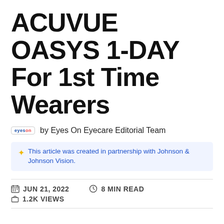ACUVUE OASYS 1-DAY For 1st Time Wearers
by Eyes On Eyecare Editorial Team
✦ This article was created in partnership with Johnson & Johnson Vision.
JUN 21, 2022   8 MIN READ   1.2K VIEWS